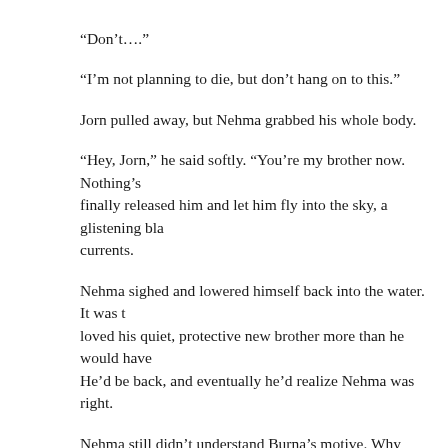“Don’t….”
“I’m not planning to die, but don’t hang on to this.”
Jorn pulled away, but Nehma grabbed his whole body.
“Hey, Jorn,” he said softly. “You’re my brother now. Nothing’s… finally released him and let him fly into the sky, a glistening bla… currents.
Nehma sighed and lowered himself back into the water. It was t… loved his quiet, protective new brother more than he would have… He’d be back, and eventually he’d realize Nehma was right.
Nehma still didn’t understand Burna’s motive. Why wouldn’t he… taken long for Nehma to realize Jorn was one of the best Elsue b… wondered if Jorn had practiced to perfect his hunting techniques… over his merfather’s death.